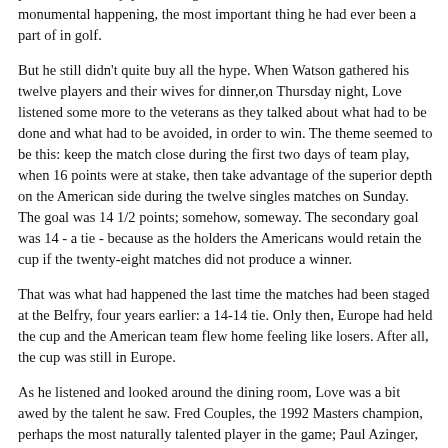Ryder Cup pressure. European supermen. Impossible shots becoming possible. Love enjoyed hearing it all. He didn't doubt this was a monumental happening, the most important thing he had ever been a part of in golf.
But he still didn't quite buy all the hype. When Watson gathered his twelve players and their wives for dinner,on Thursday night, Love listened some more to the veterans as they talked about what had to be done and what had to be avoided, in order to win. The theme seemed to be this: keep the match close during the first two days of team play, when 16 points were at stake, then take advantage of the superior depth on the American side during the twelve singles matches on Sunday. The goal was 14 1/2 points; somehow, someway. The secondary goal was 14 - a tie - because as the holders the Americans would retain the cup if the twenty-eight matches did not produce a winner.
That was what had happened the last time the matches had been staged at the Belfry, four years earlier: a 14-14 tie. Only then, Europe had held the cup and the American team flew home feeling like losers. After all, the cup was still in Europe.
As he listened and looked around the dining room, Love was a bit awed by the talent he saw. Fred Couples, the 1992 Masters champion, perhaps the most naturally talented player in the game; Paul Azinger, the toughest competitor Love had ever met, who was